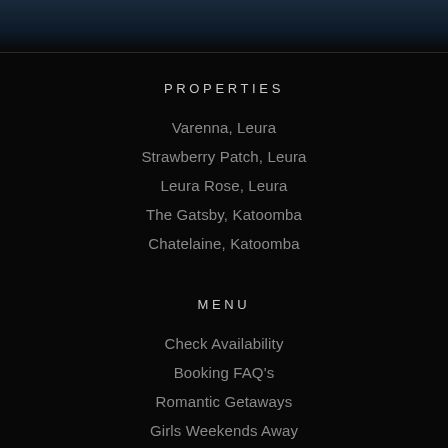[Figure (photo): Dark atmospheric photo strip at top of page showing a night scene]
PROPERTIES
Varenna, Leura
Strawberry Patch, Leura
Leura Rose, Leura
The Gatsby, Katoomba
Chatelaine, Katoomba
MENU
Check Availability
Booking FAQ's
Romantic Getaways
Girls Weekends Away